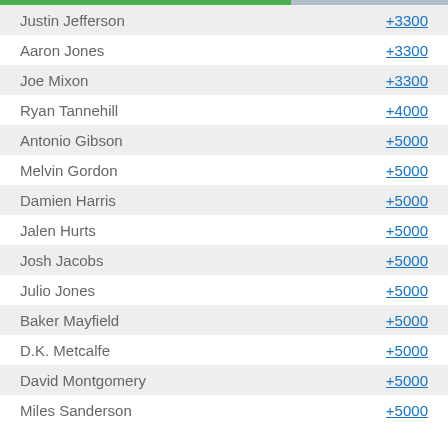| Player | Odds |
| --- | --- |
| Justin Jefferson | +3300 |
| Aaron Jones | +3300 |
| Joe Mixon | +3300 |
| Ryan Tannehill | +4000 |
| Antonio Gibson | +5000 |
| Melvin Gordon | +5000 |
| Damien Harris | +5000 |
| Jalen Hurts | +5000 |
| Josh Jacobs | +5000 |
| Julio Jones | +5000 |
| Baker Mayfield | +5000 |
| D.K. Metcalfe | +5000 |
| David Montgomery | +5000 |
| Miles Sanderson | +5000 |